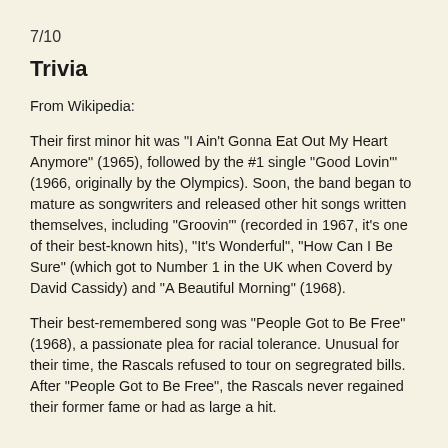7/10
Trivia
From Wikipedia:
Their first minor hit was "I Ain't Gonna Eat Out My Heart Anymore" (1965), followed by the #1 single "Good Lovin'" (1966, originally by the Olympics). Soon, the band began to mature as songwriters and released other hit songs written themselves, including "Groovin'" (recorded in 1967, it's one of their best-known hits), "It's Wonderful", "How Can I Be Sure" (which got to Number 1 in the UK when Coverd by David Cassidy) and "A Beautiful Morning" (1968).
Their best-remembered song was "People Got to Be Free" (1968), a passionate plea for racial tolerance. Unusual for their time, the Rascals refused to tour on segregrated bills. After "People Got to Be Free", the Rascals never regained their former fame or had as large a hit.